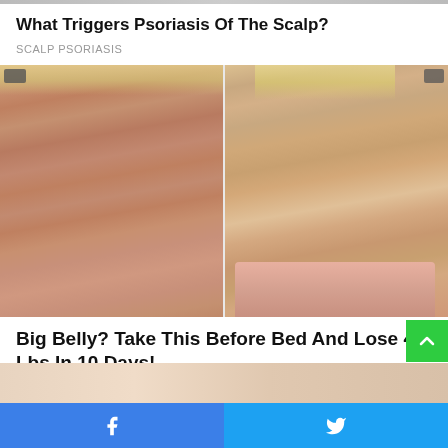[Figure (photo): Narrow top strip of image partially visible at very top of page]
What Triggers Psoriasis Of The Scalp?
SCALP PSORIASIS
[Figure (photo): Before and after weight loss comparison photos showing a woman's back from behind. Left panel shows overweight figure, right panel shows slimmed figure wearing pink pants.]
Big Belly? Take This Before Bed And Lose 44 Lbs In 10 Days!
KETO
[Figure (photo): Partial image visible at bottom of page, cropped]
Facebook share button | Twitter share button